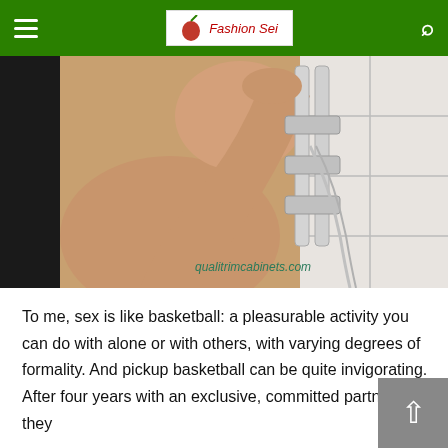Fashion Sei [logo with hamburger menu and search icon]
[Figure (photo): A person's arm and shoulder reaching up to chrome shower fittings against white tile wall, with watermark 'qualitrimcabinets.com']
To me, sex is like basketball: a pleasurable activity you can do with alone or with others, with varying degrees of formality. And pickup basketball can be quite invigorating. After four years with an exclusive, committed partner, they